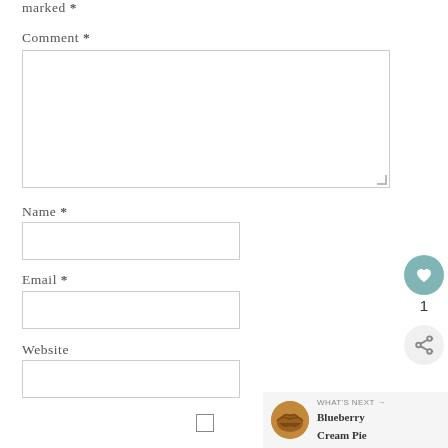marked *
Comment *
[Figure (screenshot): Comment text area input box, large empty white rectangle with border]
Name *
[Figure (screenshot): Name text input field, small empty white rectangle with border]
Email *
[Figure (screenshot): Email text input field, small empty white rectangle with border]
Website
[Figure (screenshot): Website text input field, small empty white rectangle with border]
[Figure (screenshot): Checkbox, unchecked]
[Figure (screenshot): Heart/like button (teal circle with heart icon), count of 1, and share button below]
[Figure (screenshot): What's Next panel showing Blueberry Cream Pie with thumbnail image]